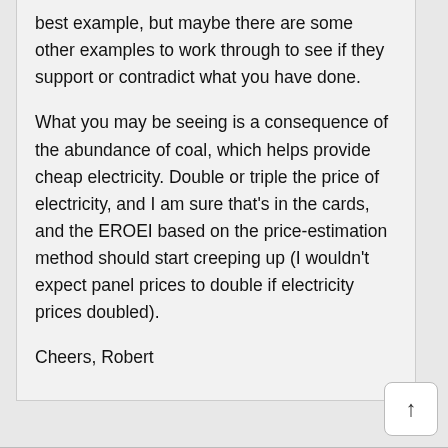best example, but maybe there are some other examples to work through to see if they support or contradict what you have done.
What you may be seeing is a consequence of the abundance of coal, which helps provide cheap electricity. Double or triple the price of electricity, and I am sure that’s in the cards, and the EROEI based on the price-estimation method should start creeping up (I wouldn’t expect panel prices to double if electricity prices doubled).
Cheers, Robert